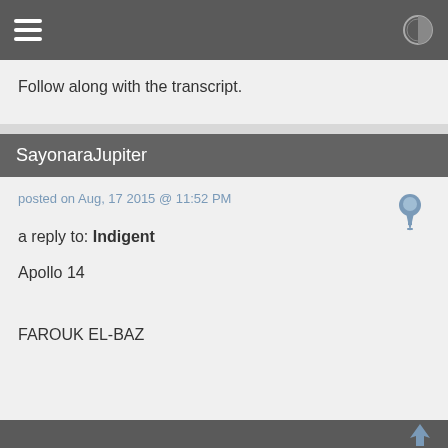Follow along with the transcript.
SayonaraJupiter
posted on Aug, 17 2015 @ 11:52 PM
a reply to: Indigent
Apollo 14
FAROUK EL-BAZ